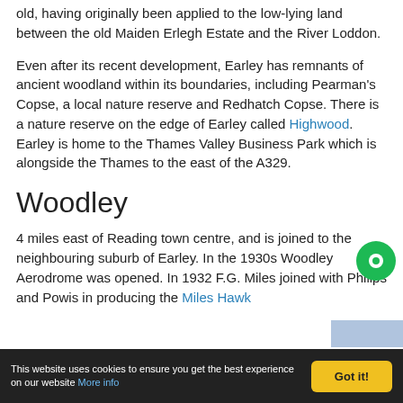old, having originally been applied to the low-lying land between the old Maiden Erlegh Estate and the River Loddon.
Even after its recent development, Earley has remnants of ancient woodland within its boundaries, including Pearman's Copse, a local nature reserve and Redhatch Copse. There is a nature reserve on the edge of Earley called Highwood. Earley is home to the Thames Valley Business Park which is alongside the Thames to the east of the A329.
Woodley
4 miles east of Reading town centre, and is joined to the neighbouring suburb of Earley. In the 1930s Woodley Aerodrome was opened. In 1932 F.G. Miles joined with Philips and Powis in producing the Miles Hawk
This website uses cookies to ensure you get the best experience on our website More info